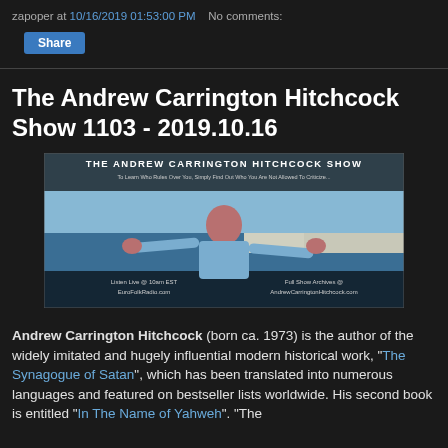zapoper at 10/16/2019 01:53:00 PM   No comments:
Share
The Andrew Carrington Hitchcock Show 1103 - 2019.10.16
[Figure (photo): Banner image for The Andrew Carrington Hitchcock Show featuring a man with arms outstretched on a coastal background. Text overlay: 'THE ANDREW CARRINGTON HITCHCOCK SHOW', 'To Learn Who Rules Over You, Simply Find Out Who You Are Not Allowed To Criticize...', 'Listen Live @ 10am EST EuroFolkRadio.com', 'Full Show Archives @ AndrewCarringtonHitchcock.com']
Andrew Carrington Hitchcock (born ca. 1973) is the author of the widely imitated and hugely influential modern historical work, "The Synagogue of Satan", which has been translated into numerous languages and featured on bestseller lists worldwide. His second book is entitled "In The Name of Yahweh". "The